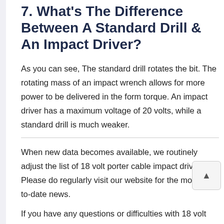7. What's The Difference Between A Standard Drill & An Impact Driver?
As you can see, The standard drill rotates the bit. The rotating mass of an impact wrench allows for more power to be delivered in the form torque. An impact driver has a maximum voltage of 20 volts, while a standard drill is much weaker.
When new data becomes available, we routinely adjust the list of 18 volt porter cable impact driver. Please do regularly visit our website for the most up-to-date news.
If you have any questions or difficulties with 18 volt